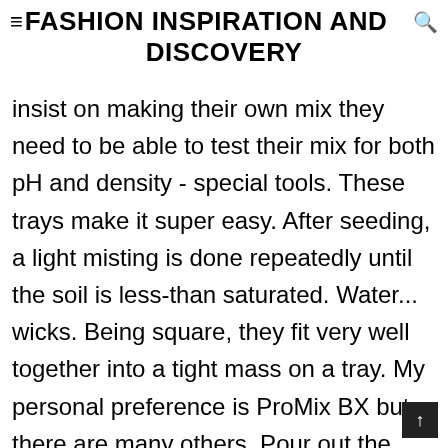FASHION INSPIRATION AND DISCOVERY
insist on making their own mix they need to be able to test their mix for both pH and density - special tools. These trays make it super easy. After seeding, a light misting is done repeatedly until the soil is less-than saturated. Water... wicks. Being square, they fit very well together into a tight mass on a tray. My personal preference is ProMix BX but there are many others. Pour out the water. The crucial thing is that it be totally soil-less and not contain fertilizers of any kind (organic or non-organic). Either works when done properly and therein